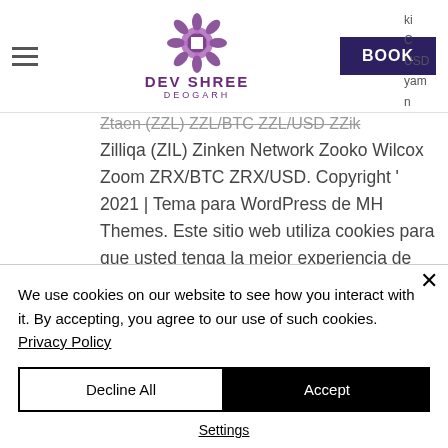[Figure (logo): Dev Shree Deogarh hotel logo with purple mandala/geometric flower icon and text 'DEV SHREE DEOGARH']
Zilliqa (ZIL) Zinken Network Zooko Wilcox Zoom ZRX/BTC ZRX/USD. Copyright ' 2021 | Tema para WordPress de MH Themes. Este sitio web utiliza cookies para que usted tenga la mejor experiencia de usuario. Si continua navegando esta dando su consentimiento para la aceptacion de las
We use cookies on our website to see how you interact with it. By accepting, you agree to our use of such cookies. Privacy Policy
Decline All
Accept
Settings